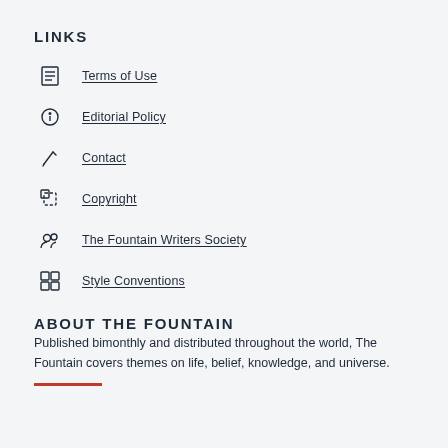LINKS
Terms of Use
Editorial Policy
Contact
Copyright
The Fountain Writers Society
Style Conventions
ABOUT THE FOUNTAIN
Published bimonthly and distributed throughout the world, The Fountain covers themes on life, belief, knowledge, and universe.